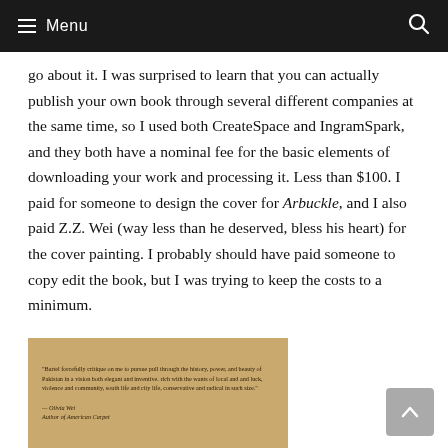☰ Menu  🔍
go about it. I was surprised to learn that you can actually publish your own book through several different companies at the same time, so I used both CreateSpace and IngramSpark, and they both have a nominal fee for the basic elements of downloading your work and processing it. Less than $100. I paid for someone to design the cover for Arbuckle, and I also paid Z.Z. Wei (way less than he deserved, bless his heart) for the cover painting. I probably should have paid someone to copy edit the book, but I was trying to keep the costs to a minimum.
[Figure (photo): A tan/golden background card with small printed quote text and attribution, resembling a book blurb or testimonial card.]